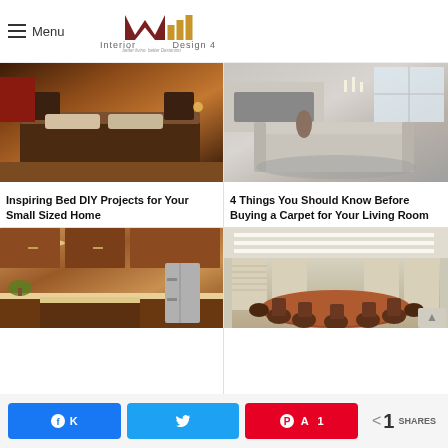Menu | Interior Design 4 - better living, better Designing
[Figure (photo): Dark bedroom with low platform bed and wooden floors]
Inspiring Bed DIY Projects for Your Small Sized Home
[Figure (photo): Modern living room with grey sectional sofa and fireplace]
4 Things You Should Know Before Buying a Carpet for Your Living Room
[Figure (photo): Warm kitchen with wooden cabinets and granite island]
[Figure (photo): Conference room with round table and recessed ceiling lighting]
Facebook share | Twitter share | Pinterest 1 | < 1 SHARES